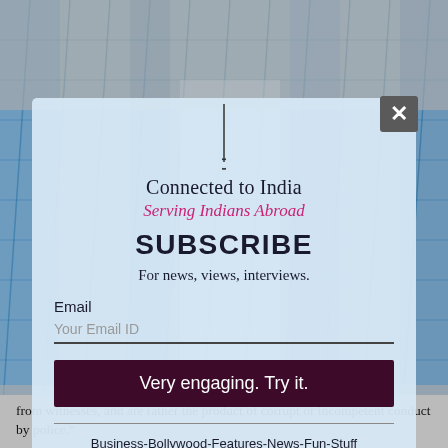admissibility of evidence presented before the Westminster Magistrates Court, Modi was remanded in custody till December 1. Both sides will make their closing submissions on January 7 and 8
[Figure (photo): Blue glass skyscraper grid background image behind a subscription modal popup]
Connected to India
Serving Indians Abroad
SUBSCRIBE
For news, views, interviews.
Email
Your Email ID
Very engaging. Try it.
Business-Bollywood-Features-News-Fun-Stuff
from witnesses, and are rather the product of corrupt or incompetent conduct by police."